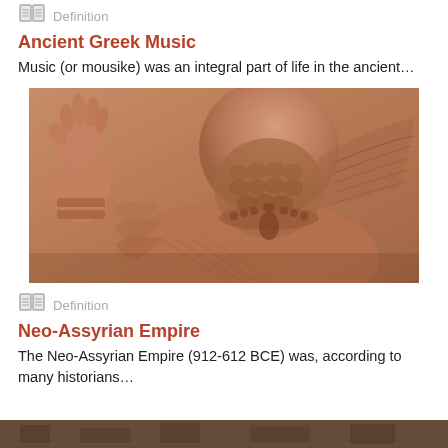Definition
Ancient Greek Music
Music (or mousike) was an integral part of life in the ancient…
[Figure (photo): Stone relief carving showing an ancient Assyrian figure with detailed beard, jewelry, and wings]
Definition
Neo-Assyrian Empire
The Neo-Assyrian Empire (912-612 BCE) was, according to many historians…
[Figure (photo): Partial view of another ancient relief or artifact at the bottom of the page]